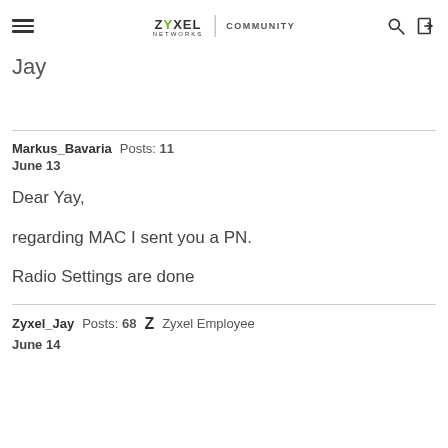ZYXEL NETWORKS | COMMUNITY
Jay
Markus_Bavaria  Posts: 11
June 13

Dear Yay,

regarding MAC I sent you a PN.

Radio Settings are done
Zyxel_Jay  Posts: 68  Z  Zyxel Employee
June 14